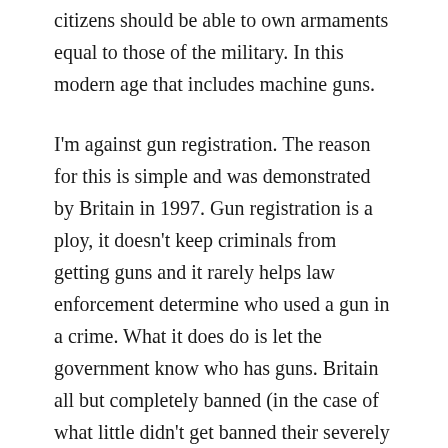citizens should be able to own armaments equal to those of the military. In this modern age that includes machine guns.
I'm against gun registration. The reason for this is simple and was demonstrated by Britain in 1997. Gun registration is a ploy, it doesn't keep criminals from getting guns and it rarely helps law enforcement determine who used a gun in a crime. What it does do is let the government know who has guns. Britain all but completely banned (in the case of what little didn't get banned their severely restricted) private firearm ownership. It's illegal to own any handgun in Britain. Before this the government required registration of all firearms, the fact is they knew where to go to confiscate the guns when they banned them. To top it all off violent crime has been skyrocketing in Britain every since then.